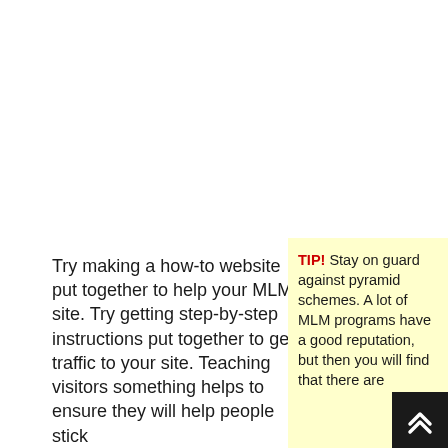Try making a how-to website put together to help your MLM site. Try getting step-by-step instructions put together to get traffic to your site. Teaching visitors something helps to ensure they will help people stick
TIP! Stay on guard against pyramid schemes. A lot of MLM programs have a good reputation, but then you will find that there are